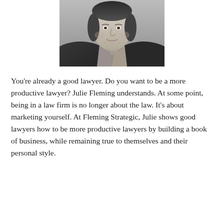[Figure (photo): Black and white headshot photo of Julie Fleming, a woman wearing a collared shirt and necklace, smiling slightly, cropped to show head and shoulders.]
You're already a good lawyer. Do you want to be a more productive lawyer? Julie Fleming understands. At some point, being in a law firm is no longer about the law. It's about marketing yourself. At Fleming Strategic, Julie shows good lawyers how to be more productive lawyers by building a book of business, while remaining true to themselves and their personal style.